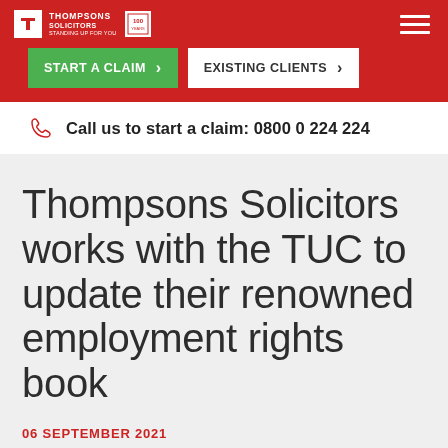Thompsons Solicitors — Standing up for you. Start a Claim. Existing Clients.
Call us to start a claim: 0800 0 224 224
Thompsons Solicitors works with the TUC to update their renowned employment rights book
06 SEPTEMBER 2021